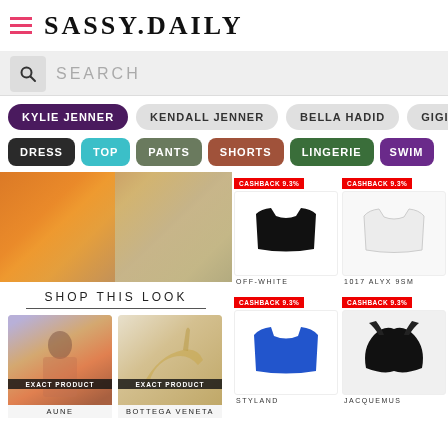SASSY.DAILY
SEARCH
KYLIE JENNER
KENDALL JENNER
BELLA HADID
GIGI
DRESS
TOP
PANTS
SHORTS
LINGERIE
SWIM
[Figure (photo): Close-up fabric texture, orange and yellow tones]
SHOP THIS LOOK
[Figure (photo): Fashion model wearing colorful dress - EXACT PRODUCT - AUNE]
EXACT PRODUCT
AUNE
[Figure (photo): Beige heeled mule shoe - EXACT PRODUCT - BOTTEGA VENETA]
EXACT PRODUCT
BOTTEGA VENETA
CASHBACK 9.3%
[Figure (photo): Black crop top - OFF-WHITE brand]
OFF-WHITE
CASHBACK 9.3%
[Figure (photo): White crop top - 1017 ALYX 9SM brand]
1017 ALYX 9SM
CASHBACK 9.3%
[Figure (photo): Blue crop top - STYLAND brand]
STYLAND
CASHBACK 9.3%
[Figure (photo): Black sculptural top - JACQUEMUS brand]
JACQUEMUS